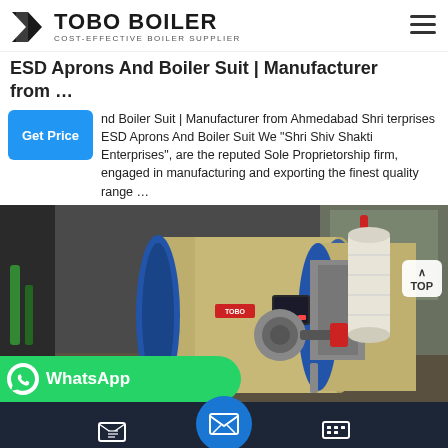TOBO BOILER — COST-EFFECTIVE BOILER SUPPLIER
ESD Aprons And Boiler Suit | Manufacturer from …
nd Boiler Suit | Manufacturer from Ahmedabad Shri terprises ESD Aprons And Boiler Suit We "Shri Shiv Shakti Enterprises", are the reputed Sole Proprietorship firm, engaged in manufacturing and exporting the finest quality range …
[Figure (photo): Industrial boiler equipment in a factory setting — two large horizontal cylindrical boilers (beige/tan colored) with blue end caps, connected to a cylindrical filter/separator unit, with piping, gauges and red/yellow pipes visible in the background.]
WhatsApp
Send Message | Inquiry Online